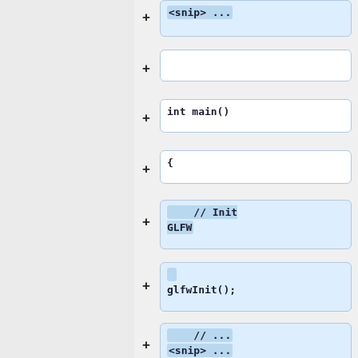[Figure (screenshot): Code diff viewer showing a series of code blocks with '+' (addition) markers. Blocks contain code snippets: '<snip> ...', empty line, 'int main()', '{', '// Init GLFW', 'glfwInit();', '// ...
<snip> ...
setup a window and a context', empty line with cursor, '// Load all OpenGL'. Left panel is a grey sidebar. Right panel shows the code blocks with blue highlight backgrounds for some blocks.]